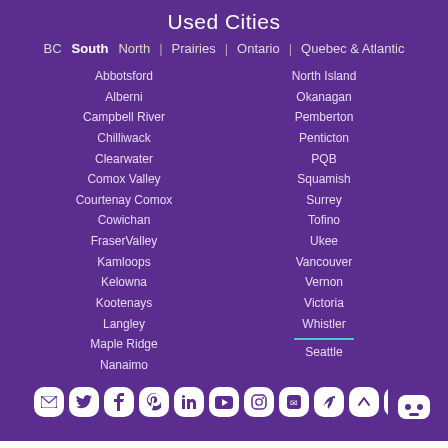Used Cities
BC  South  North  |  Prairies  |  Ontario  |  Quebec & Atlantic
Abbotsford
Alberni
Campbell River
Chilliwack
Clearwater
Comox Valley
Courtenay Comox
Cowichan
FraserValley
Kamloops
Kelowna
Kootenays
Langley
Maple Ridge
Nanaimo
North Island
Okanagan
Pemberton
Penticton
PQB
Squamish
Surrey
Tofino
Ukee
Vancouver
Vernon
Victoria
Whistler
Seattle
[Figure (infographic): Social media icon buttons: email, twitter, facebook, pinterest, linkedin, youtube, instagram, and other icons on white rounded square backgrounds]
Contact · Blog · Help · Privacy Policy · Terms of Use · Advertise with Us
Made in Canada © 2022 Used.ca